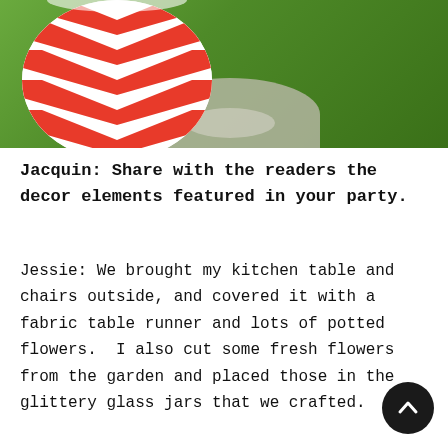[Figure (photo): Photo showing a red and white chevron patterned item (bag or container) in the foreground, with green grass and a stone/concrete path in the background, taken outdoors.]
Jacquin: Share with the readers the decor elements featured in your party.
Jessie: We brought my kitchen table and chairs outside, and covered it with a fabric table runner and lots of potted flowers. I also cut some fresh flowers from the garden and placed those in the glittery glass jars that we crafted. As